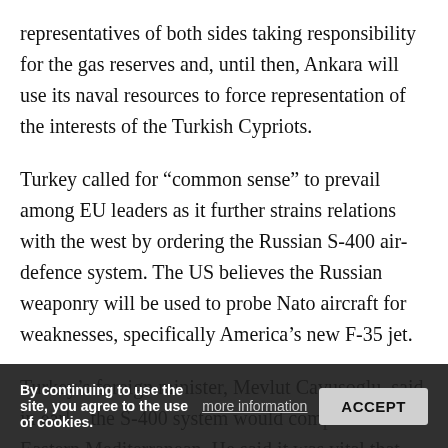representatives of both sides taking responsibility for the gas reserves and, until then, Ankara will use its naval resources to force representation of the interests of the Turkish Cypriots.
Turkey called for “common sense” to prevail among EU leaders as it further strains relations with the west by ordering the Russian S-400 air-defence system. The US believes the Russian weaponry will be used to probe Nato aircraft for weaknesses, specifically America’s new F-35 jet.
Turkey’s foreign minister, Mevlut Cavusoglu, said in early ... the S-400 system would comp... har... he Eastern Mediterranean. He said it was vital that “we will ... ” and then the ... would ...
By continuing to use the site, you agree to the use of cookies.